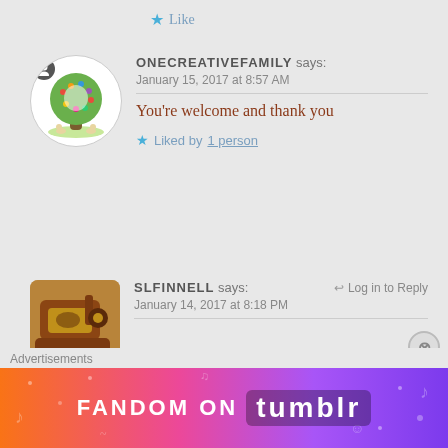★ Like
[Figure (illustration): Avatar with colorful tree illustration for ONECREATIVEFAMILY]
ONECREATIVEFAMILY says:
January 15, 2017 at 8:57 AM
You're welcome and thank you
★ Liked by 1 person
[Figure (photo): Avatar photo of a vintage sewing machine for SLFINNELL]
SLFINNELL says:
January 14, 2017 at 8:18 PM
← Log in to Reply
Advertisements
[Figure (illustration): Fandom on Tumblr advertisement banner with colorful gradient background]